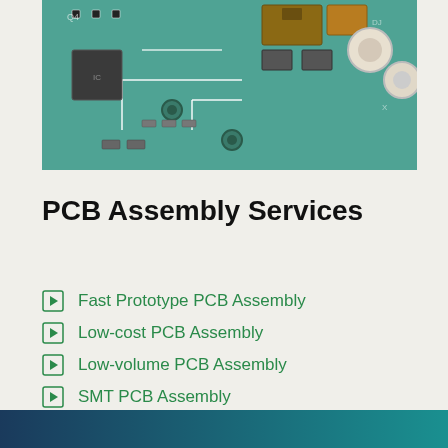[Figure (photo): Close-up photograph of a green printed circuit board (PCB) with electronic components including resistors, capacitors, and traces.]
PCB Assembly Services
Fast Prototype PCB Assembly
Low-cost PCB Assembly
Low-volume PCB Assembly
SMT PCB Assembly
LED PCB Assembly Service